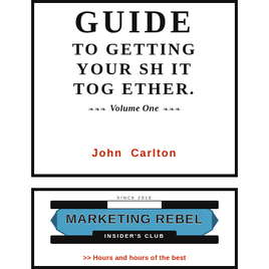GUIDE TO GETTING YOUR SHIT TOGETHER. Volume One
John Carlton
[Figure (logo): Marketing Rebel Insider's Club logo with blue shield/badge shape, black bold text 'MARKETING REBEL' and 'INSIDER'S CLUB' below, with 'SINCE 2010' at top]
>> Hours and hours of the best